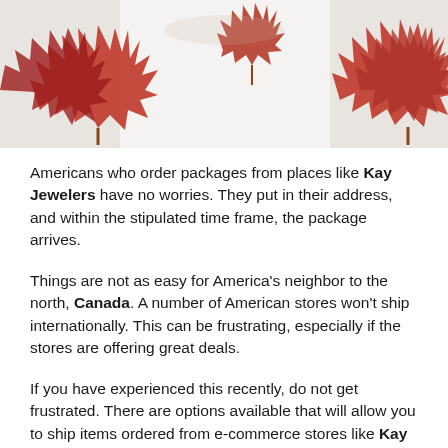[Figure (photo): Photo of red maple leaves arranged around the edges of a white background, typical Canadian maple leaf imagery.]
Americans who order packages from places like Kay Jewelers have no worries. They put in their address, and within the stipulated time frame, the package arrives.
Things are not as easy for America’s neighbor to the north, Canada. A number of American stores won’t ship internationally. This can be frustrating, especially if the stores are offering great deals.
If you have experienced this recently, do not get frustrated. There are options available that will allow you to ship items ordered from e-commerce stores like Kay Jewelers to your house or office